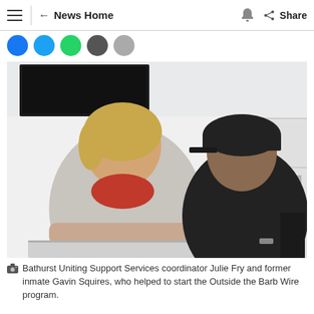≡  ← News Home  🔔  Share
[Figure (photo): Two people sitting together indoors. A woman with short blonde hair wearing a light grey cardigan and red scarf/top, and a man wearing a black cap and black hoodie. They appear to be leaning on a silver tray or case. Behind them are white shelves and a TV mounted on the wall.]
Bathurst Uniting Support Services coordinator Julie Fry and former inmate Gavin Squires, who helped to start the Outside the Barb Wire program.